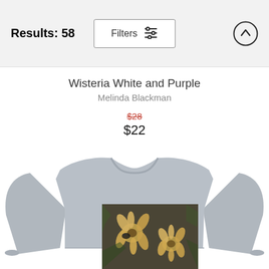Results: 58
Filters
Wisteria White and Purple
Melinda Blackman
$28
$22
[Figure (photo): Gray crewneck sweatshirt with a printed photo of golden/orange flowers on the chest area, displayed on a white background.]